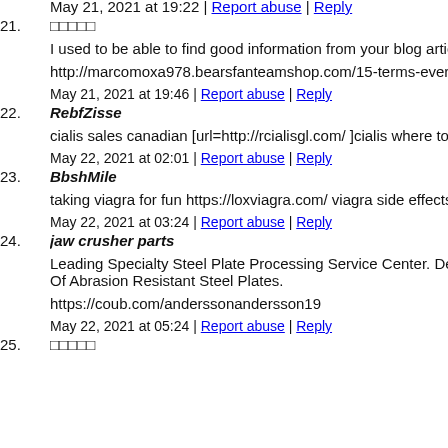May 21, 2021 at 19:22 | Report abuse | Reply
21. □□□□□
I used to be able to find good information from your blog artic…
http://marcomoxa978.bearsfanteamshop.com/15-terms-everyo…
May 21, 2021 at 19:46 | Report abuse | Reply
22. RebfZisse
cialis sales canadian [url=http://rcialisgl.com/ ]cialis where to b…
May 22, 2021 at 02:01 | Report abuse | Reply
23. BbshMile
taking viagra for fun https://loxviagra.com/ viagra side effects…
May 22, 2021 at 03:24 | Report abuse | Reply
24. jaw crusher parts
Leading Specialty Steel Plate Processing Service Center. Dema… Of Abrasion Resistant Steel Plates.
https://coub.com/anderssonandersson19
May 22, 2021 at 05:24 | Report abuse | Reply
25. □□□□□